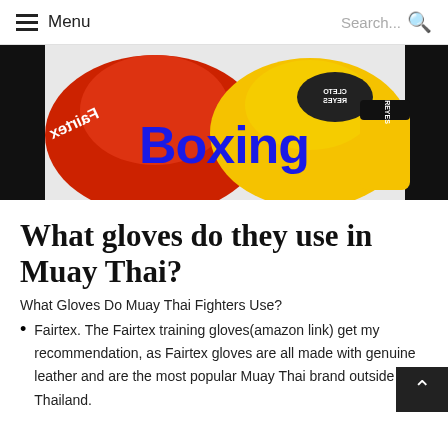Menu  Search...
[Figure (photo): Photo of boxing gloves including red Fairtex glove and yellow Cleto Reyes glove with 'Boxing' text overlay in blue]
What gloves do they use in Muay Thai?
What Gloves Do Muay Thai Fighters Use?
Fairtex. The Fairtex training gloves(amazon link) get my recommendation, as Fairtex gloves are all made with genuine leather and are the most popular Muay Thai brand outside of Thailand.